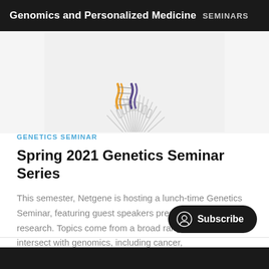Genomics and Personalized Medicine   SEMINARS
[Figure (illustration): Partial circular diagram resembling a chromosome or genomic wheel illustration with colorful twisted elements at the top against a light gray background]
GENETICS SEMINAR
Spring 2021 Genetics Seminar Series
This semester, Netgene is hosting a lunch-time Genetics Seminar, featuring guest speakers presenting their latest research. Topics come from a broad range of fields that intersect with genomics, including cancer,
NETGENE
18 JAN 2021 • 1 MIN READ